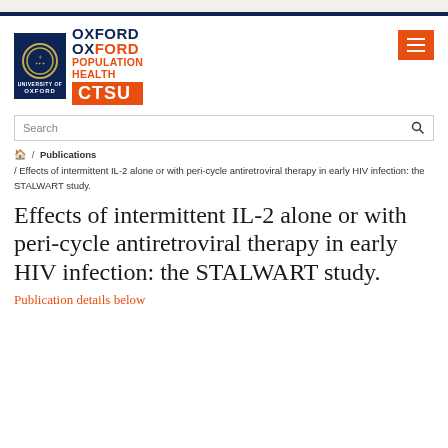[Figure (logo): Oxford Population Health CTSU logo with University of Oxford shield]
Search
/ Publications / Effects of intermittent IL-2 alone or with peri-cycle antiretroviral therapy in early HIV infection: the STALWART study.
Effects of intermittent IL-2 alone or with peri-cycle antiretroviral therapy in early HIV infection: the STALWART study.